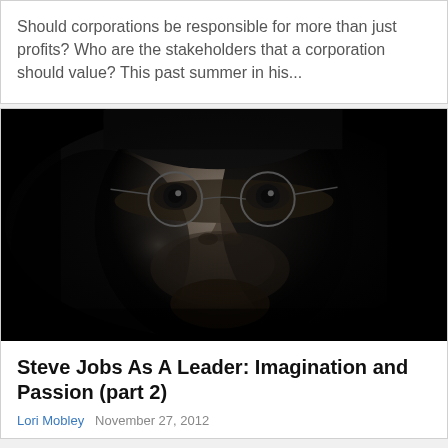Should corporations be responsible for more than just profits? Who are the stakeholders that a corporation should value? This past summer in his...
[Figure (photo): Black and white close-up portrait photograph of a man with round wire-rimmed glasses and a beard, looking intensely at the camera. The image is high contrast with a very dark background.]
Steve Jobs As A Leader: Imagination and Passion (part 2)
Lori Mobley   November 27, 2012